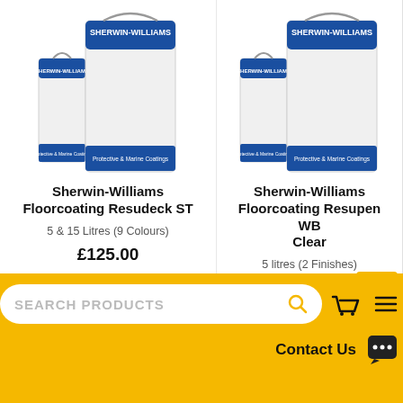[Figure (photo): Two Sherwin-Williams paint cans (small and large) with blue lids and white bodies, Protective & Marine Coatings label at bottom]
Sherwin-Williams Floorcoating Resudeck ST
5 & 15 Litres (9 Colours)
£125.00
[Figure (photo): Two Sherwin-Williams paint cans (small and large) with blue lids and white bodies, Protective & Marine Coatings label at bottom]
Sherwin-Williams Floorcoating Resupen WB Clear
5 litres (2 Finishes)
£135.00
SEARCH PRODUCTS
Contact Us